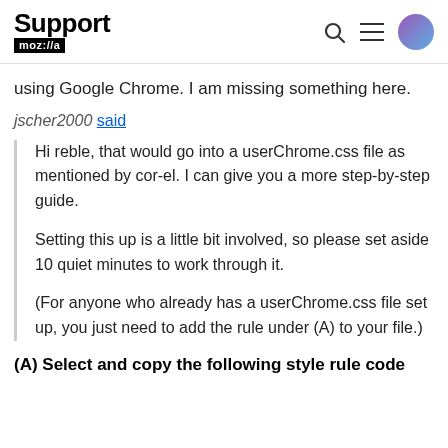Support mozilla//a
using Google Chrome. I am missing something here.
jscher2000 said
Hi reble, that would go into a userChrome.css file as mentioned by cor-el. I can give you a more step-by-step guide.

Setting this up is a little bit involved, so please set aside 10 quiet minutes to work through it.

(For anyone who already has a userChrome.css file set up, you just need to add the rule under (A) to your file.)
(A) Select and copy the following style rule code